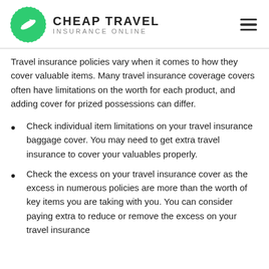CHEAP TRAVEL INSURANCE ONLINE
Travel insurance policies vary when it comes to how they cover valuable items. Many travel insurance coverage covers often have limitations on the worth for each product, and adding cover for prized possessions can differ.
Check individual item limitations on your travel insurance baggage cover. You may need to get extra travel insurance to cover your valuables properly.
Check the excess on your travel insurance cover as the excess in numerous policies are more than the worth of key items you are taking with you. You can consider paying extra to reduce or remove the excess on your travel insurance